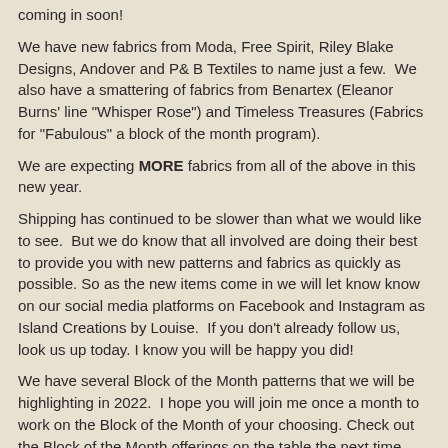coming in soon!
We have new fabrics from Moda, Free Spirit, Riley Blake Designs, Andover and P& B Textiles to name just a few.  We also have a smattering of fabrics from Benartex (Eleanor Burns' line "Whisper Rose") and Timeless Treasures (Fabrics for "Fabulous" a block of the month program).
We are expecting MORE fabrics from all of the above in this new year.
Shipping has continued to be slower than what we would like to see.  But we do know that all involved are doing their best to provide you with new patterns and fabrics as quickly as possible. So as the new items come in we will let know know on our social media platforms on Facebook and Instagram as Island Creations by Louise.  If you don't already follow us, look us up today. I know you will be happy you did!
We have several Block of the Month patterns that we will be highlighting in 2022.  I hope you will join me once a month to work on the Block of the Month of your choosing. Check out the Block of the Month offerings on the table the next time